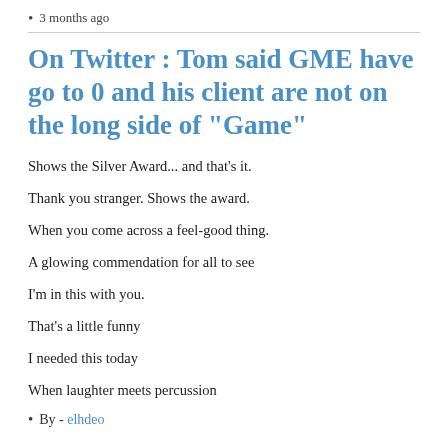3 months ago
On Twitter : Tom said GME have go to 0 and his client are not on the long side of "Game"
Shows the Silver Award... and that's it.
Thank you stranger. Shows the award.
When you come across a feel-good thing.
A glowing commendation for all to see
I'm in this with you.
That's a little funny
I needed this today
When laughter meets percussion
By - elhdeo